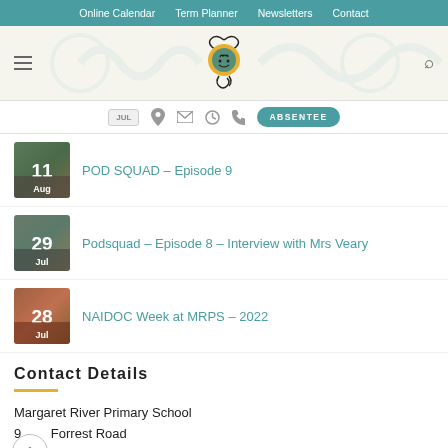Online Calendar | Term Planner | Newsletters | Contact
[Figure (logo): School logo — decorative swirl with yellow circle and face, with additional triskelion swirl decorations in background]
POD SQUAD – Episode 9 (11 Aug)
Podsquad – Episode 8 – Interview with Mrs Veary (29 Jul)
NAIDOC Week at MRPS – 2022 (28 Jul)
Contact Details
Margaret River Primary School
91 Forrest Road
Margaret River, WA 6285